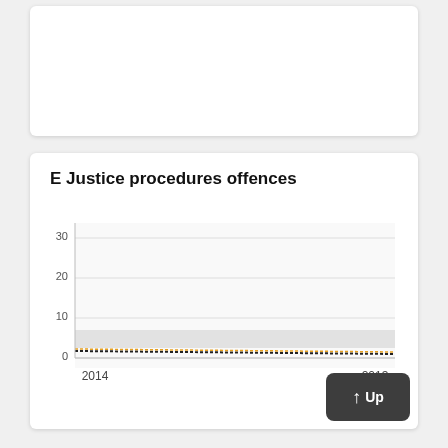[Figure (line-chart): E Justice procedures offences]